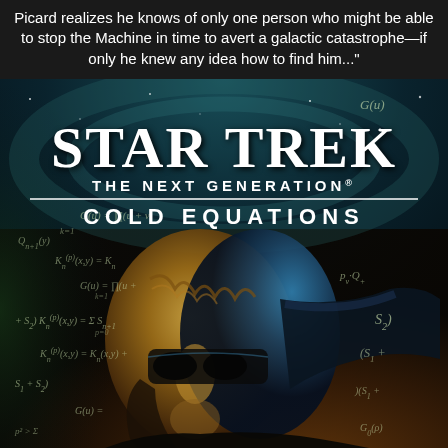Picard realizes he knows of only one person who might be able to stop the Machine in time to avert a galactic catastrophe—if only he knew any idea how to find him...
[Figure (illustration): Book cover of Star Trek: The Next Generation - Cold Equations, showing a Klingon face overlaid with mathematical equations on a cosmic background of teal and orange hues.]